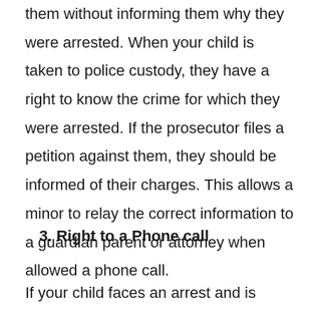them without informing them why they were arrested. When your child is taken to police custody, they have a right to know the crime for which they were arrested. If the prosecutor files a petition against them, they should be informed of their charges. This allows a minor to relay the correct information to a guardian parent or attorney when allowed a phone call.
3. Right to a Phone call
If your child faces an arrest and is detained in